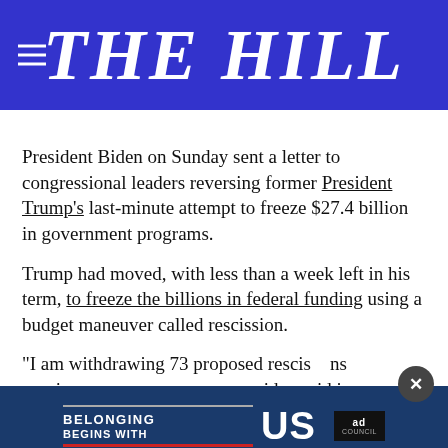THE HILL
President Biden on Sunday sent a letter to congressional leaders reversing former President Trump's last-minute attempt to freeze $27.4 billion in government programs.
Trump had moved, with less than a week left in his term, to freeze the billions in federal funding using a budget maneuver called rescission.
“I am withdrawing 73 proposed rescissions previously Biden said in the letter
[Figure (other): Ad Council banner advertisement with text 'BELONGING BEGINS WITH US' on dark blue background with red underline bar and Ad Council logo]